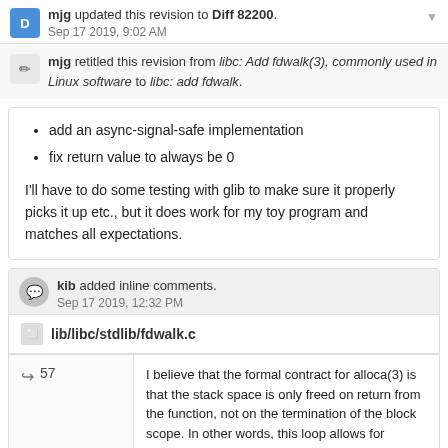mjg updated this revision to Diff 82200. Sep 17 2019, 9:02 AM
mjg retitled this revision from libc: Add fdwalk(3), commonly used in Linux software to libc: add fdwalk.
add an async-signal-safe implementation
fix return value to always be 0
I'll have to do some testing with glib to make sure it properly picks it up etc., but it does work for my toy program and matches all expectations.
kib added inline comments. Sep 17 2019, 12:32 PM
lib/libc/stdlib/fdwalk.c
57  I believe that the formal contract for alloca(3) is that the stack space is only freed on return from the function, not on the termination of the block scope. In other words, this loop allows for unbound stack allocation if reod...